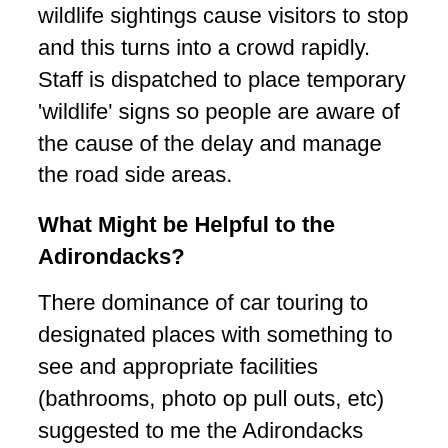wildlife sightings cause visitors to stop and this turns into a crowd rapidly. Staff is dispatched to place temporary 'wildlife' signs so people are aware of the cause of the delay and manage the road side areas.
What Might be Helpful to the Adirondacks?
There dominance of car touring to designated places with something to see and appropriate facilities (bathrooms, photo op pull outs, etc) suggested to me the Adirondacks could do a lot more with simple roadside vistas and pull outs.  Simple things like a sign saying “pull out ahead gave drivers time to pull safely off the road to enjoy the location.  Encouraging activity other than hiking protects the back country.
Since no one lives in the Parks, staff housing has to be provided.  It would see like summer staff housing in the